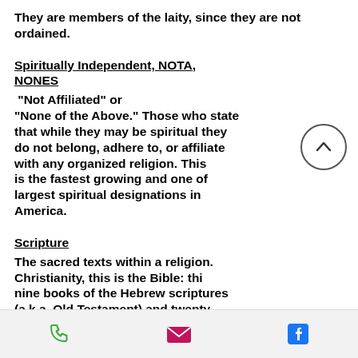They are members of the laity, since they are not ordained.
Spiritually Independent, NOTA, NONES
"Not Affiliated" or "None of the Above." Those who state that while they may be spiritual they do not belong, adhere to, or affiliate with any organized religion. This is the fastest growing and one of largest spiritual designations in America.
Scripture
The sacred texts within a religion. In Christianity, this is the Bible: thi... nine books of the Hebrew scriptures (a.k.a. Old Testament) and twenty- ...
Phone | Email | Facebook